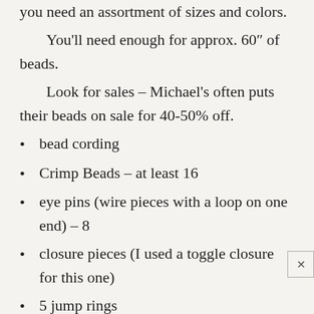you need an assortment of sizes and colors.
You'll need enough for approx. 60″ of beads.
Look for sales – Michael's often puts their beads on sale for 40-50% off.
bead cording
Crimp Beads – at least 16
eye pins (wire pieces with a loop on one end) – 8
closure pieces (I used a toggle closure for this one)
5 jump rings
head pins (wire pieces with a flat end) – 10